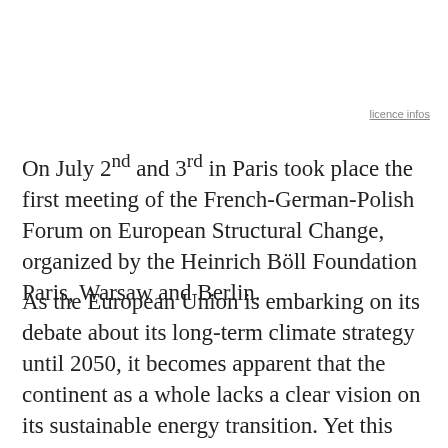licence infos
On July 2nd and 3rd in Paris took place the first meeting of the French-German-Polish Forum on European Structural Change, organized by the Heinrich Böll Foundation Paris, Warsaw and Berlin.
As the European Union is embarking on its debate about its long-term climate strategy until 2050, it becomes apparent that the continent as a whole lacks a clear vision on its sustainable energy transition. Yet this Europe-wide long-term energy and climate debate starting this autumn offers a number of important opportunities for countries